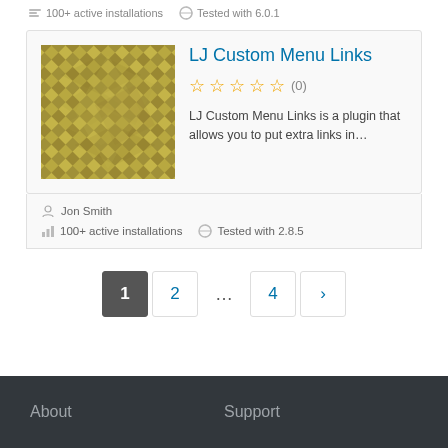100+ active installations   Tested with 6.0.1
LJ Custom Menu Links
[Figure (illustration): Plugin thumbnail with pixelated olive/khaki diamond pattern]
★★★★★ (0)
LJ Custom Menu Links is a plugin that allows you to put extra links in…
Jon Smith
100+ active installations   Tested with 2.8.5
1
2
...
4
›
About   Support